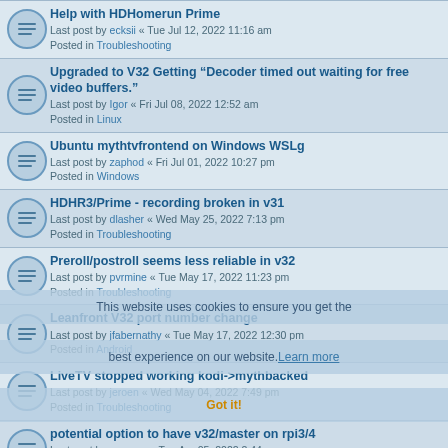Help with HDHomerun Prime
Last post by ecksii « Tue Jul 12, 2022 11:16 am
Posted in Troubleshooting
Upgraded to V32 Getting "Decoder timed out waiting for free video buffers."
Last post by Igor « Fri Jul 08, 2022 12:52 am
Posted in Linux
Ubuntu mythtvfrontend on Windows WSLg
Last post by zaphod « Fri Jul 01, 2022 10:27 pm
Posted in Windows
HDHR3/Prime - recording broken in v31
Last post by dlasher « Wed May 25, 2022 7:13 pm
Posted in Troubleshooting
Preroll/postroll seems less reliable in v32
Last post by pvrmine « Tue May 17, 2022 11:23 pm
Posted in Troubleshooting
Leanfront V32 port number change
Last post by jfabernathy « Tue May 17, 2022 12:30 pm
Posted in Android
LiveTV stopped working kodi->mythbacked
Last post by jeroen « Wed May 04, 2022 7:49 pm
Posted in Troubleshooting
potential option to have v32/master on rpi3/4
Last post by warpme « Tue Apr 05, 2022 2:44 pm
Posted in Raspberry Pi
v12.0.0 is available :-)
Last post by warpme « Tue Apr 05, 2022 10:38 am
Posted in Announcements
mythfilldatabase options
Last post by blm-ubunet « Sat Apr 02, 2022 12:36 am